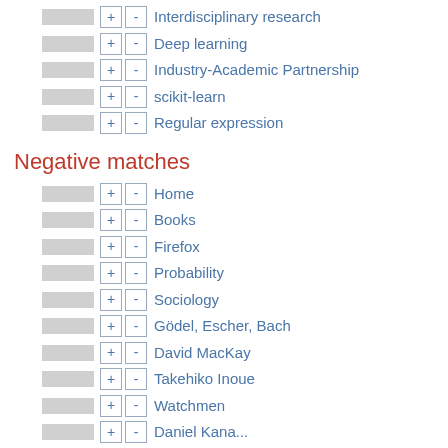Interdisciplinary research
Deep learning
Industry-Academic Partnership
scikit-learn
Regular expression
Negative matches
Home
Books
Firefox
Probability
Sociology
Gödel, Escher, Bach
David MacKay
Takehiko Inoue
Watchmen
Daniel Karath (partial)